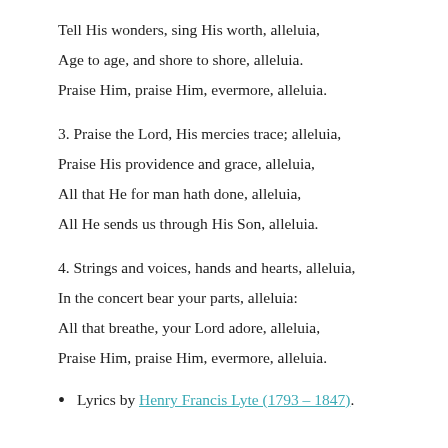Tell His wonders, sing His worth, alleluia,
Age to age, and shore to shore, alleluia.
Praise Him, praise Him, evermore, alleluia.
3. Praise the Lord, His mercies trace; alleluia,
Praise His providence and grace, alleluia,
All that He for man hath done, alleluia,
All He sends us through His Son, alleluia.
4. Strings and voices, hands and hearts, alleluia,
In the concert bear your parts, alleluia:
All that breathe, your Lord adore, alleluia,
Praise Him, praise Him, evermore, alleluia.
Lyrics by Henry Francis Lyte (1793 – 1847).